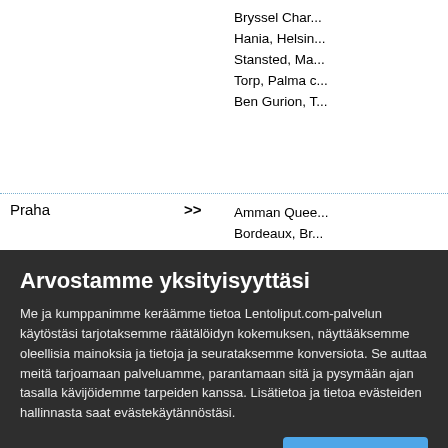| City | Direction | Destinations |
| --- | --- | --- |
|  |  | Bryssel Char... |
|  |  | Hania, Helsin... |
|  |  | Stansted, Ma... |
|  |  | Torp, Palma c... |
|  |  | Ben Gurion, T... |
| Praha | >> | Amman Quee... |
|  |  | Bordeaux, Br... |
|  |  | Edinburgh, G... |
|  |  | Krakova, Lan... |
|  |  | Manchester I... |
|  |  | Palma de Ma... |
Arvostamme yksityisyyttäsi
Me ja kumppanimme keräämme tietoa Lentoliput.com-palvelun käytöstäsi tarjotaksemme räätälöidyn kokemuksen, näyttääksemme oleellisia mainoksia ja tietoja ja seurataksemme konversiota. Se auttaa meitä tarjoamaan palveluamme, parantamaan sitä ja pysymään ajan tasalla kävijöidemme tarpeiden kanssa. Lisätietoa ja tietoa evästeiden hallinnasta saat evästekäytännöstäsi.
Muokkaa evästeasetuksia
OK